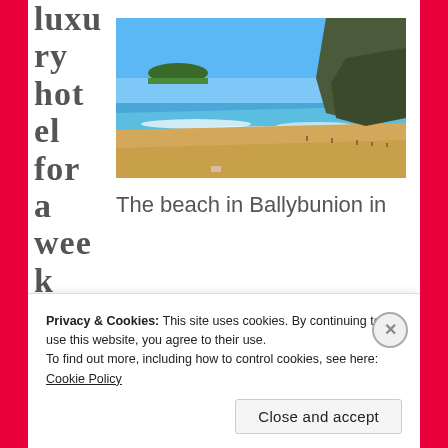luxury hotel for a week because he
[Figure (photo): A beach in Ballybunion on a sunny day with blue sky, turquoise sea, sandy shore, and rocky cliffs in the background.]
The beach in Ballybunion in
Privacy & Cookies: This site uses cookies. By continuing to use this website, you agree to their use.
To find out more, including how to control cookies, see here: Cookie Policy
Close and accept